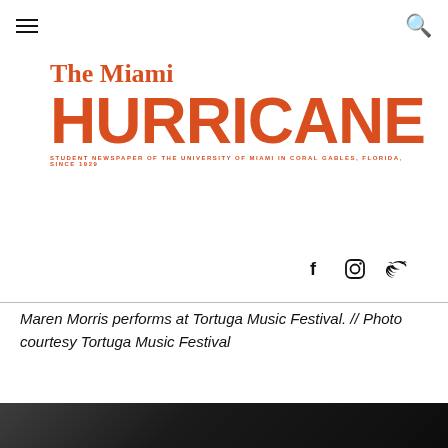The Miami Hurricane — Student newspaper of the University of Miami in Coral Gables, Florida, since 1929
[Figure (logo): The Miami Hurricane newspaper logo in orange/red. Large bold 'HURRICANE' text with 'The Miami' above it in serif font and tagline 'STUDENT NEWSPAPER OF THE UNIVERSITY OF MIAMI IN CORAL GABLES, FLORIDA, SINCE 1929' below.]
[Figure (illustration): Social media icons: Facebook (f), Instagram (circle/camera), Twitter (bird)]
Maren Morris performs at Tortuga Music Festival. // Photo courtesy Tortuga Music Festival
[Figure (photo): Bottom partial photo showing a performer, dark background, bottom of page cropped.]